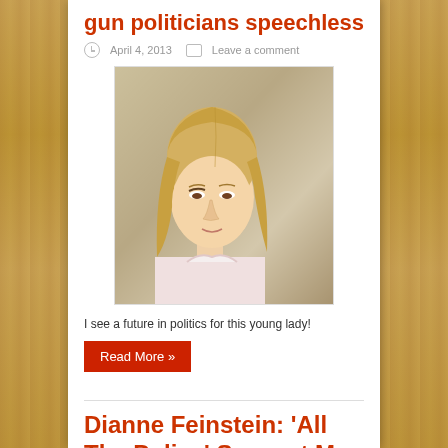gun politicians speechless
April 4, 2013   Leave a comment
[Figure (photo): Photo of a young blonde woman looking downward, wearing a light pink shirt, in an indoor setting]
I see a future in politics for this young lady!
Read More »
Dianne Feinstein: 'All The Police' Support My Gun Ban
February 26, 2013   Leave a comment